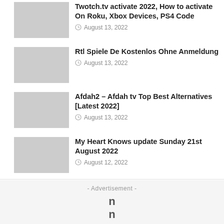Twotch.tv activate 2022, How to activate On Roku, Xbox Devices, PS4 Code
August 13, 2022
Rtl Spiele De Kostenlos Ohne Anmeldung
August 13, 2022
Afdah2 – Afdah tv Top Best Alternatives [Latest 2022]
August 13, 2022
My Heart Knows update Sunday 21st August 2022
August 12, 2022
- Advertisement -
n
n